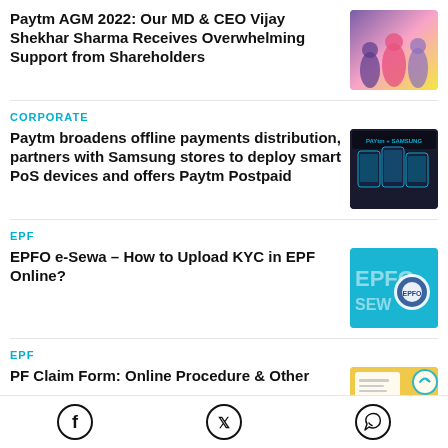Paytm AGM 2022: Our MD & CEO Vijay Shekhar Sharma Receives Overwhelming Support from Shareholders
[Figure (photo): Colorful graphic illustration related to Paytm AGM 2022]
CORPORATE
Paytm broadens offline payments distribution, partners with Samsung stores to deploy smart PoS devices and offers Paytm Postpaid
[Figure (photo): Paytm + Samsung co-branded promotional image showing PoS devices]
EPF
EPFO e-Sewa – How to Upload KYC in EPF Online?
[Figure (photo): EPFO e-Sewa banner with blue background and EPFO logo]
EPF
PF Claim Form: Online Procedure & Other
[Figure (photo): EPF/PF claim form image with rupee coin graphic]
Facebook  Twitter  WhatsApp